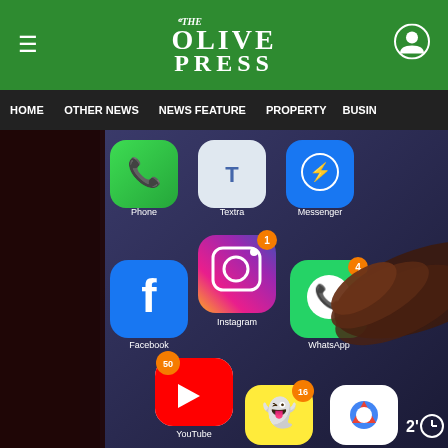The Olive Press
[Figure (screenshot): Navigation bar with menu items: HOME, OTHER NEWS, NEWS FEATURE, PROPERTY, BUSIN...]
[Figure (photo): Close-up photo of a smartphone screen showing social media app icons including Phone, Textra, Messenger, Instagram (with 1 notification), Facebook, WhatsApp (with 4 notifications), YouTube (with 50 notifications), Snapchat (with 16 notifications), Chrome, and other apps. A finger is visible pressing the screen. Timer overlay shows 2 minutes.]